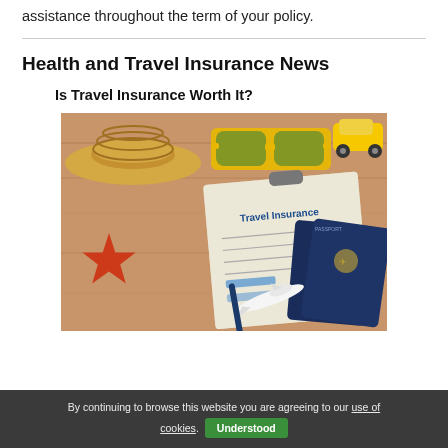assistance throughout the term of your policy.
Health and Travel Insurance News
Is Travel Insurance Worth It?
[Figure (photo): Flat lay of travel items on a wooden surface: straw hat, yellow sunglasses, yellow toy car, red starfish, a clipboard with a Travel Insurance form, two navy blue passports, a white toy airplane, and a pen.]
By continuing to browse this website you are agreeing to our use of cookies. Understood